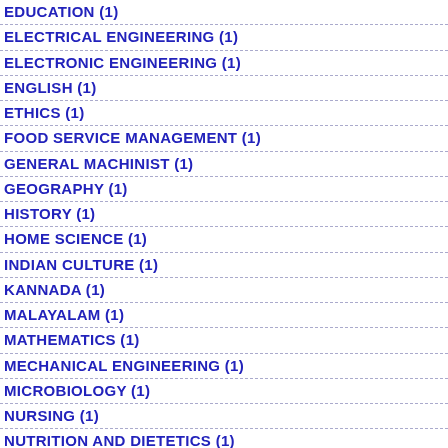EDUCATION (1)
ELECTRICAL ENGINEERING (1)
ELECTRONIC ENGINEERING (1)
ENGLISH (1)
ETHICS (1)
FOOD SERVICE MANAGEMENT (1)
GENERAL MACHINIST (1)
GEOGRAPHY (1)
HISTORY (1)
HOME SCIENCE (1)
INDIAN CULTURE (1)
KANNADA (1)
MALAYALAM (1)
MATHEMATICS (1)
MECHANICAL ENGINEERING (1)
MICROBIOLOGY (1)
NURSING (1)
NUTRITION AND DIETETICS (1)